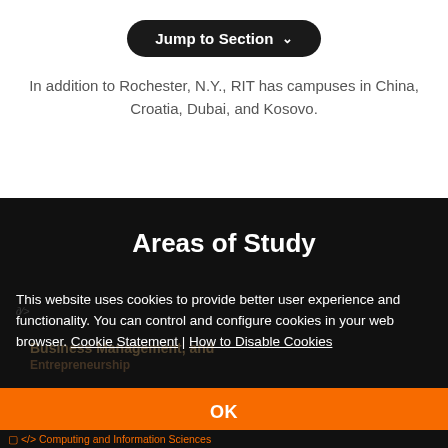[Figure (screenshot): Orange progress bar at top of page]
[Figure (screenshot): Black rounded button labeled 'Jump to Section' with chevron]
In addition to Rochester, N.Y., RIT has campuses in China, Croatia, Dubai, and Kosovo.
Areas of Study
This website uses cookies to provide better user experience and functionality. You can control and configure cookies in your web browser. Cookie Statement | How to Disable Cookies
[Figure (screenshot): Orange OK button for cookie consent]